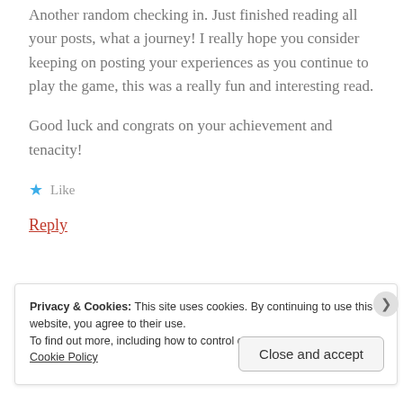Another random checking in. Just finished reading all your posts, what a journey! I really hope you consider keeping on posting your experiences as you continue to play the game, this was a really fun and interesting read.
Good luck and congrats on your achievement and tenacity!
★ Like
Reply
Privacy & Cookies: This site uses cookies. By continuing to use this website, you agree to their use.
To find out more, including how to control cookies, see here:
Cookie Policy
Close and accept